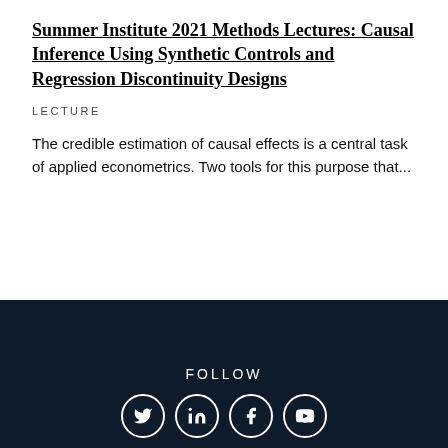Summer Institute 2021 Methods Lectures: Causal Inference Using Synthetic Controls and Regression Discontinuity Designs
LECTURE
The credible estimation of causal effects is a central task of applied econometrics. Two tools for this purpose that...
FOLLOW